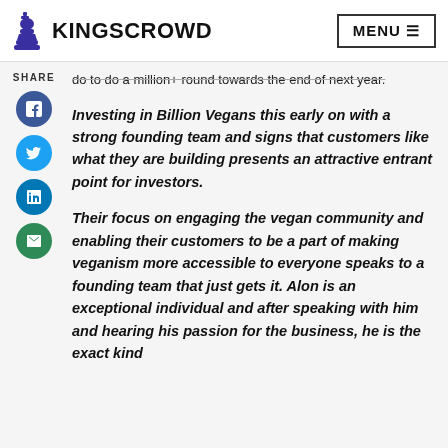KINGSCROWD | MENU
do to do a million+ round towards the end of next year.
SHARE
Investing in Billion Vegans this early on with a strong founding team and signs that customers like what they are building presents an attractive entrant point for investors.
Their focus on engaging the vegan community and enabling their customers to be a part of making veganism more accessible to everyone speaks to a founding team that just gets it. Alon is an exceptional individual and after speaking with him and hearing his passion for the business, he is the exact kind